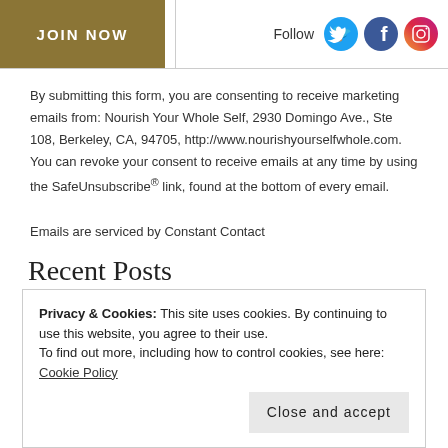[Figure (logo): JOIN NOW button with olive/brown background and white uppercase text]
[Figure (infographic): Follow section with Twitter (blue bird), Facebook (blue f), and Instagram (pink camera) social media icons]
By submitting this form, you are consenting to receive marketing emails from: Nourish Your Whole Self, 2930 Domingo Ave., Ste 108, Berkeley, CA, 94705, http://www.nourishyourselfwhole.com. You can revoke your consent to receive emails at any time by using the SafeUnsubscribe® link, found at the bottom of every email. Emails are serviced by Constant Contact
Recent Posts
How Excessive Free Radicals Damage the Body and How Vegetables and Fruits Help Clean Them Up
Privacy & Cookies: This site uses cookies. By continuing to use this website, you agree to their use.
To find out more, including how to control cookies, see here: Cookie Policy
Close and accept